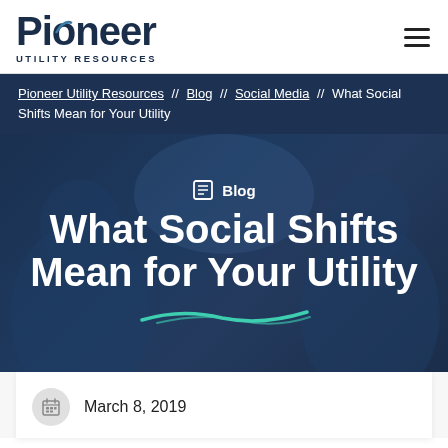Pioneer UTILITY RESOURCES
Pioneer Utility Resources // Blog // Social Media // What Social Shifts Mean for Your Utility
[Figure (screenshot): Hero banner with dark blue overlay showing two people in work uniforms, with Blog label icon, large white bold title 'What Social Shifts Mean for Your Utility', and a teal hand-drawn underline decoration]
March 8, 2019